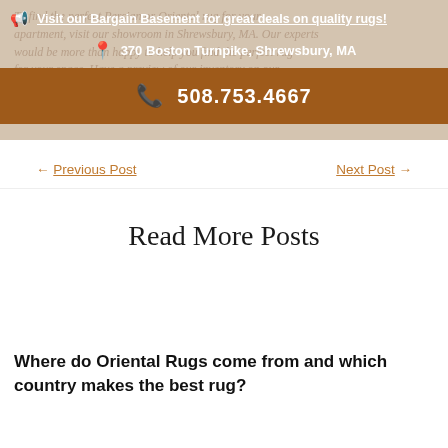To find the perfect Persian or Oriental rug for your apartment, visit our showroom in Shrewsbury, MA. Our experts would be more than happy to help you find the perfect rug for your space. Have a preview of our inventory on our information, we look forward to assisting with you!
Visit our Bargain Basement for great deals on quality rugs!
370 Boston Turnpike, Shrewsbury, MA
508.753.4667
← Previous Post
Next Post →
Read More Posts
Where do Oriental Rugs come from and which country makes the best rug?